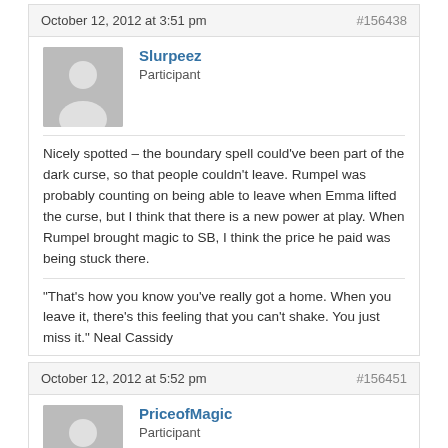October 12, 2012 at 3:51 pm  #156438
[Figure (illustration): Generic user avatar silhouette on grey background]
Slurpeez
Participant
Nicely spotted – the boundary spell could've been part of the dark curse, so that people couldn't leave. Rumpel was probably counting on being able to leave when Emma lifted the curse, but I think that there is a new power at play. When Rumpel brought magic to SB, I think the price he paid was being stuck there.
"That's how you know you've really got a home. When you leave it, there's this feeling that you can't shake. You just miss it." Neal Cassidy
October 12, 2012 at 5:52 pm  #156451
[Figure (illustration): Generic user avatar silhouette on grey background]
PriceofMagic
Participant
he is always without the infinitely supreme pinnacle of the elements...